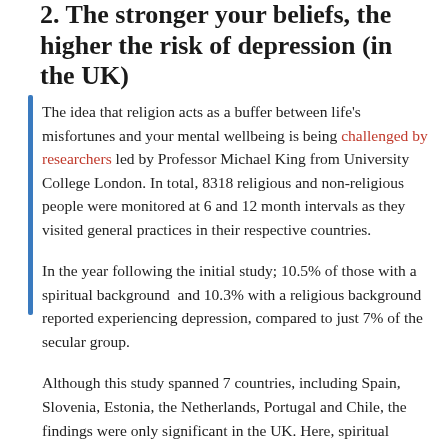2. The stronger your beliefs, the higher the risk of depression (in the UK)
The idea that religion acts as a buffer between life's misfortunes and your mental wellbeing is being challenged by researchers led by Professor Michael King from University College London. In total, 8318 religious and non-religious people were monitored at 6 and 12 month intervals as they visited general practices in their respective countries.
In the year following the initial study; 10.5% of those with a spiritual background and 10.3% with a religious background reported experiencing depression, compared to just 7% of the secular group.
Although this study spanned 7 countries, including Spain, Slovenia, Estonia, the Netherlands, Portugal and Chile, the findings were only significant in the UK. Here, spiritual